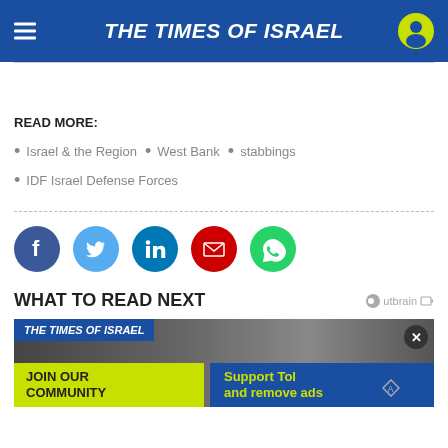THE TIMES OF ISRAEL
READ MORE:
Israel & the Region
West Bank
stabbings
IDF Israel Defense Forces
[Figure (infographic): Social sharing icons: Facebook, Twitter, LinkedIn, Email, WhatsApp]
WHAT TO READ NEXT
[Figure (screenshot): Times of Israel article thumbnail with JOIN OUR COMMUNITY and Support ToI and remove ads banner]